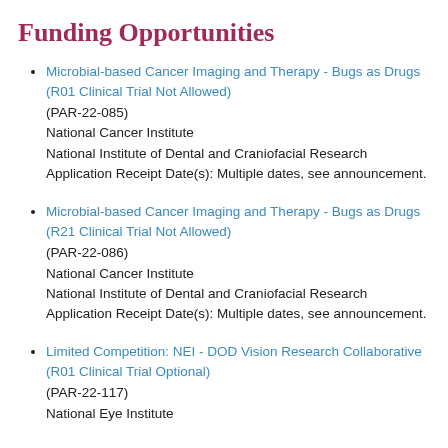Funding Opportunities
Microbial-based Cancer Imaging and Therapy - Bugs as Drugs (R01 Clinical Trial Not Allowed)
(PAR-22-085)
National Cancer Institute
National Institute of Dental and Craniofacial Research
Application Receipt Date(s): Multiple dates, see announcement.
Microbial-based Cancer Imaging and Therapy - Bugs as Drugs (R21 Clinical Trial Not Allowed)
(PAR-22-086)
National Cancer Institute
National Institute of Dental and Craniofacial Research
Application Receipt Date(s): Multiple dates, see announcement.
Limited Competition: NEI - DOD Vision Research Collaborative (R01 Clinical Trial Optional)
(PAR-22-117)
National Eye Institute